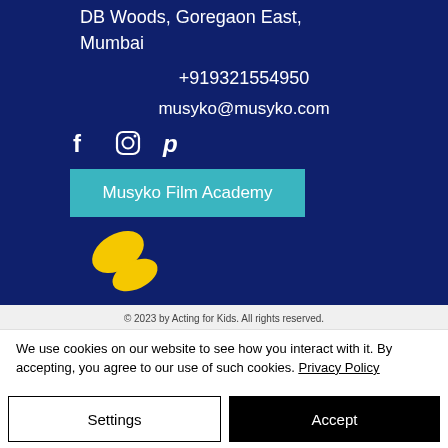DB Woods, Goregaon East, Mumbai
+919321554950
musyko@musyko.com
[Figure (illustration): Social media icons: Facebook (f), Instagram (circle camera), Pinterest (P)]
Musyko Film Academy
[Figure (logo): Yellow brush-stroke butterfly/M logo on dark blue background]
© 2023 by Acting for Kids. All rights reserved.
We use cookies on our website to see how you interact with it. By accepting, you agree to our use of such cookies. Privacy Policy
Settings
Accept